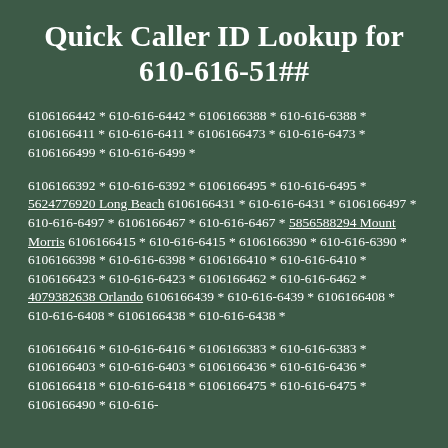Quick Caller ID Lookup for 610-616-51##
6106166442 * 610-616-6442 * 6106166388 * 610-616-6388 * 6106166411 * 610-616-6411 * 6106166473 * 610-616-6473 * 6106166499 * 610-616-6499 *
6106166392 * 610-616-6392 * 6106166495 * 610-616-6495 * 5624776920 Long Beach 6106166431 * 610-616-6431 * 6106166497 * 610-616-6497 * 6106166467 * 610-616-6467 * 5856588294 Mount Morris 6106166415 * 610-616-6415 * 6106166390 * 610-616-6390 * 6106166398 * 610-616-6398 * 6106166410 * 610-616-6410 * 6106166423 * 610-616-6423 * 6106166462 * 610-616-6462 * 4079382638 Orlando 6106166439 * 610-616-6439 * 6106166408 * 610-616-6408 * 6106166438 * 610-616-6438 *
6106166416 * 610-616-6416 * 6106166383 * 610-616-6383 * 6106166403 * 610-616-6403 * 6106166436 * 610-616-6436 * 6106166418 * 610-616-6418 * 6106166475 * 610-616-6475 * 6106166490 * 610-616-